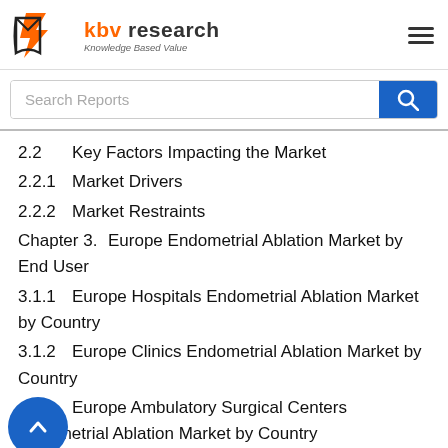KBV Research — Knowledge Based Value
2.2    Key Factors Impacting the Market
2.2.1    Market Drivers
2.2.2    Market Restraints
Chapter 3.    Europe Endometrial Ablation Market by End User
3.1.1    Europe Hospitals Endometrial Ablation Market by Country
3.1.2    Europe Clinics Endometrial Ablation Market by Country
3    Europe Ambulatory Surgical Centers Endometrial Ablation Market by Country
Chapter 4.    Europe Endometrial Ablation Market by